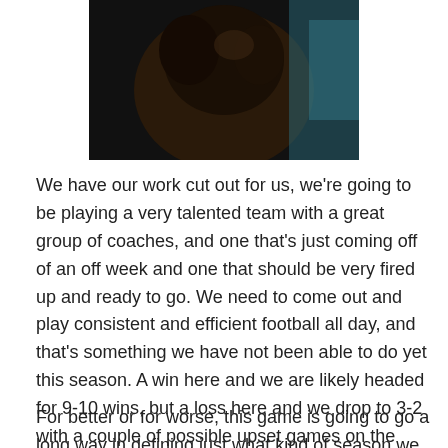[Figure (photo): Dark close-up photo of a person or animal against a blueish background, cropped at top]
We have our work cut out for us, we're going to be playing a very talented team with a great group of coaches, and one that's just coming off of an off week and one that should be very fired up and ready to go. We need to come out and play consistent and efficient football all day, and that's something we have not been able to do yet this season. A win here and we are likely headed for 9-10 wins, but a loss here and we drop to 3-2 with a couple of possible upset games on the horizon (Houston and Ole Miss).
For better or for worse, this game is going to go a long way in defining just what kind of season we will have.